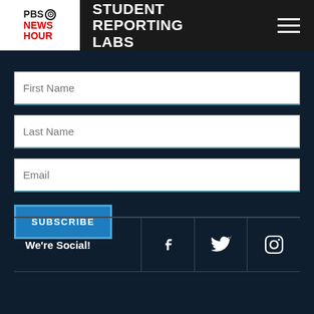[Figure (logo): PBS NewsHour logo in white box on left, Student Reporting Labs title in white text on black header]
First Name
Last Name
Email
SUBSCRIBE
We're Social!
[Figure (illustration): Facebook, Twitter, and Instagram social media icons in white on dark background footer row]